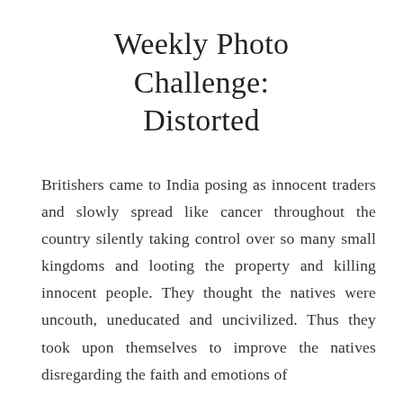Weekly Photo Challenge: Distorted
Britishers came to India posing as innocent traders and slowly spread like cancer throughout the country silently taking control over so many small kingdoms and looting the property and killing innocent people. They thought the natives were uncouth, uneducated and uncivilized. Thus they took upon themselves to improve the natives disregarding the faith and emotions of